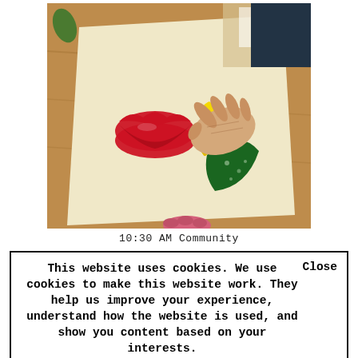[Figure (photo): Elderly person's hand holding a yellow marker/crayon, drawing on a cream-colored paper. On the paper is a red lips/kiss mark shape and a green leaf shape. Background shows a wooden table, some magazines/papers, and another person's hand holding the paper at the bottom.]
10:30 AM Community
This website uses cookies. We use cookies to make this website work. They help us improve your experience, understand how the website is used, and show you content based on your interests.   Close